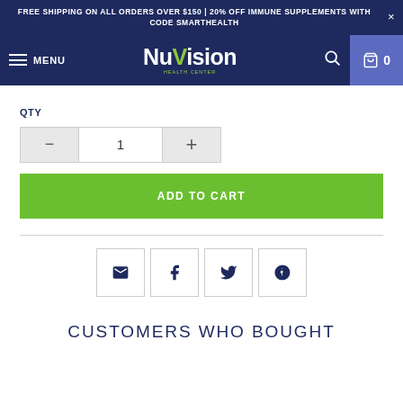FREE SHIPPING ON ALL ORDERS OVER $150 | 20% OFF IMMUNE SUPPLEMENTS WITH CODE SMARTHEALTH
[Figure (logo): NuVision Health Center logo with green leaf accent and 'HEALTH CENTER' subtitle text]
QTY
1
ADD TO CART
[Figure (infographic): Four social sharing icon buttons: email, Facebook, Twitter, Pinterest]
CUSTOMERS WHO BOUGHT